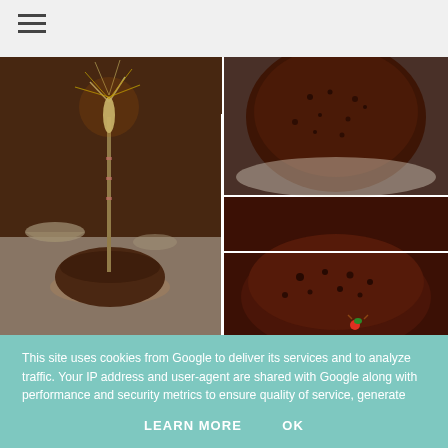[Figure (photo): Three food photos: left side shows a birthday cake with a lit sparkler candle on a dark table setting; top right shows a close-up of a dark chocolate/fruit cake slice from above; bottom right shows another angle of dark chocolate/fruit cake slice with a small Christmas ornament decoration.]
This site uses cookies from Google to deliver its services and to analyze traffic. Your IP address and user-agent are shared with Google along with performance and security metrics to ensure quality of service, generate usage statistics, and to detect and address abuse.
LEARN MORE    OK